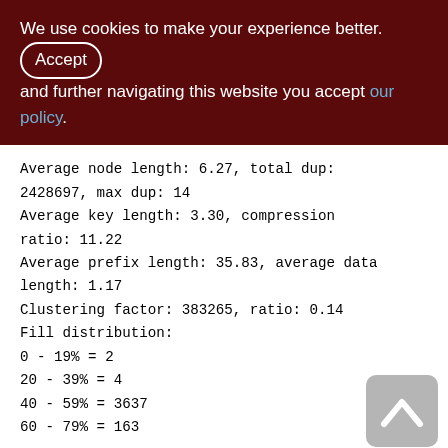We use cookies to make your experience better. By Accepting and further navigating this website you accept our policy.
Average node length: 6.27, total dup: 2428697, max dup: 14
Average key length: 3.30, compression ratio: 11.22
Average prefix length: 35.83, average data length: 1.17
Clustering factor: 383265, ratio: 0.14
Fill distribution:
0 - 19% = 2
20 - 39% = 4
40 - 59% = 3637
60 - 79% = 163